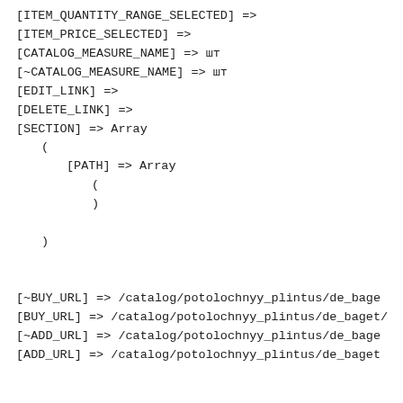[ITEM_QUANTITY_RANGE_SELECTED] =>
[ITEM_PRICE_SELECTED] =>
[CATALOG_MEASURE_NAME] => шт
[~CATALOG_MEASURE_NAME] => шт
[EDIT_LINK] =>
[DELETE_LINK] =>
[SECTION] => Array
    (
        [PATH] => Array
            (
            )

    )

[~BUY_URL] => /catalog/potolochnyy_plintus/de_bage
[BUY_URL] => /catalog/potolochnyy_plintus/de_baget/
[~ADD_URL] => /catalog/potolochnyy_plintus/de_bage
[ADD_URL] => /catalog/potolochnyy_plintus/de_baget